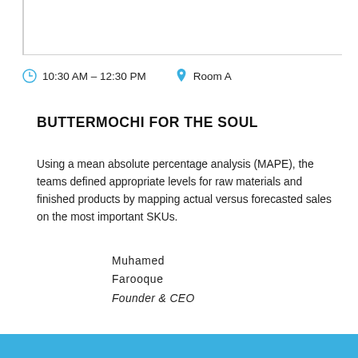10:30 AM – 12:30 PM   Room A
BUTTERMOCHI FOR THE SOUL
Using a mean absolute percentage analysis (MAPE), the teams defined appropriate levels for raw materials and finished products by mapping actual versus forecasted sales on the most important SKUs.
Muhamed
Farooque
Founder & CEO